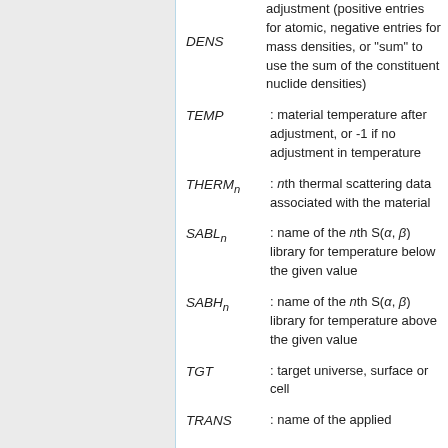DENS : adjustment (positive entries for atomic, negative entries for mass densities, or "sum" to use the sum of the constituent nuclide densities)
TEMP : material temperature after adjustment, or -1 if no adjustment in temperature
THERMn : nth thermal scattering data associated with the material
SABLn : name of the nth S(α, β) library for temperature below the given value
SABHn : name of the nth S(α, β) library for temperature above the given value
TGT : target universe, surface or cell
TRANS : name of the applied